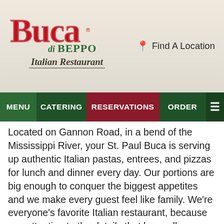[Figure (logo): Buca di Beppo Italian Restaurant logo in red, green and white colors]
Find A Location
MENU | CATERING | RESERVATIONS | ORDER
Located on Gannon Road, in a bend of the Mississippi River, your St. Paul Buca is serving up authentic Italian pastas, entrees, and pizzas for lunch and dinner every day. Our portions are big enough to conquer the biggest appetites and we make every guest feel like family. We’re everyone’s favorite Italian restaurant, because pay attention to the details that keep all our guests coming back for more. Our semi-private dining rooms are perfect for all your celebrations and gatherings, so make a reservation today! Also, if you need to feed a hungry crowd at your home or another venue, we offer a variety of catering options to suit your needs. Stop by your St. Paul Buca for a delicious Italian meal and while you’re here you can make all of your dining